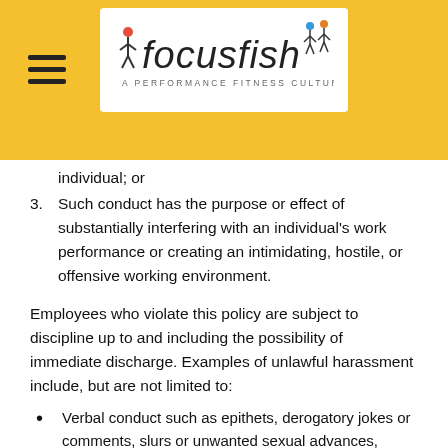[Figure (logo): Focusfish logo: stylized italic text 'focusfish' with illustrated athletic figures, subtitle 'A PERFORMANCE FITNESS CULTURE', on white background with yellow/gold banner header and hamburger menu icon]
individual; or
3. Such conduct has the purpose or effect of substantially interfering with an individual's work performance or creating an intimidating, hostile, or offensive working environment.
Employees who violate this policy are subject to discipline up to and including the possibility of immediate discharge. Examples of unlawful harassment include, but are not limited to:
Verbal conduct such as epithets, derogatory jokes or comments, slurs or unwanted sexual advances, invitations or comments.
Visual conduct such as derogatory and/or sexually oriented posters, photography, cartoons, drawings, e-mail and faxes or gestures.